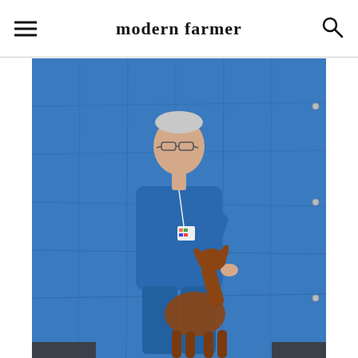modern farmer
[Figure (photo): A man in a blue jacket and blue pants stands in front of a crumpled blue tarp backdrop. He wears glasses and a badge/lanyard. A brown goat stands in front of him, facing away, with its head raised toward the man's hand.]